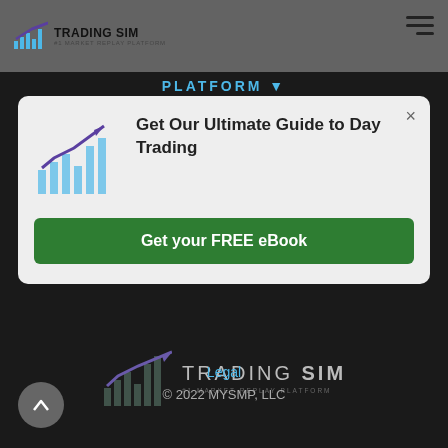TRADING SIM #1 MARKET REPLAY PLATFORM
PLATFORM ▼
[Figure (screenshot): Modal popup with trading chart icon, title 'Get Our Ultimate Guide to Day Trading', and a green 'Get your FREE eBook' button]
Get Our Ultimate Guide to Day Trading
Get your FREE eBook
[Figure (logo): TradingSim logo - #1 Market Replay Platform in white/grey on dark background]
Legal
© 2022 MYSMP, LLC